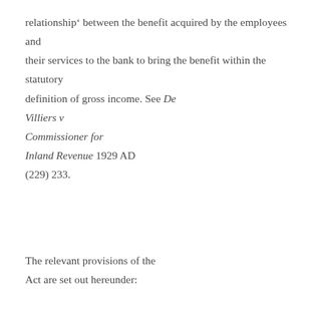relationship‘ between the benefit acquired by the employees and their services to the bank to bring the benefit within the statutory definition of gross income. See De Villiers v Commissioner for Inland Revenue 1929 AD (229) 233.
The relevant provisions of the Act are set out hereunder: